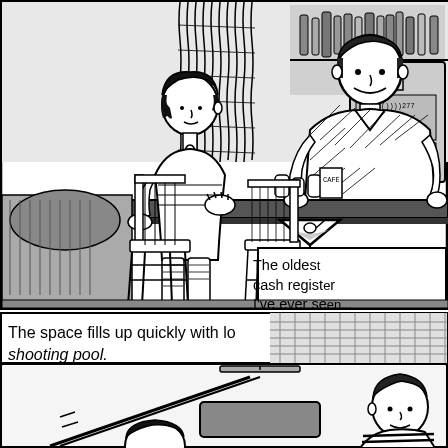[Figure (illustration): Top comic panel: A bar scene showing a woman with short dark hair sitting at a bar counter, facing a male bartender who is smiling. Behind the bartender are shelves with bottles and an old cash register. Hanging rope decorations are visible at the top. A cocktail glass (martini) sits on the bar counter in the foreground. Chairs visible on left side.]
The oldest cash register I've ever se...
The space fills up quickly with lo... shooting pool.
[Figure (illustration): Bottom comic panel: A pool hall scene showing people playing pool. A pool table with hanging lamp is visible in the background. In the foreground right side is a person with short hair wearing a striped top.]